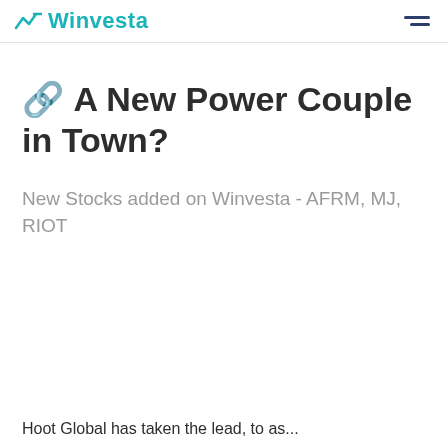Winvesta
🔗 A New Power Couple in Town?
New Stocks added on Winvesta - AFRM, MJ, RIOT
Hoot Global has taken the lead, to as...